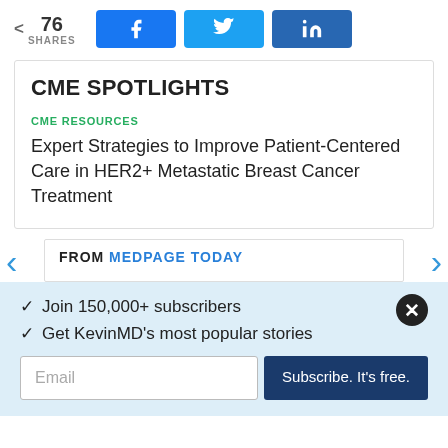76 SHARES | Facebook | Twitter | LinkedIn
CME SPOTLIGHTS
CME RESOURCES
Expert Strategies to Improve Patient-Centered Care in HER2+ Metastatic Breast Cancer Treatment
FROM MEDPAGE TODAY
✓ Join 150,000+ subscribers
✓ Get KevinMD's most popular stories
Email | Subscribe. It's free.